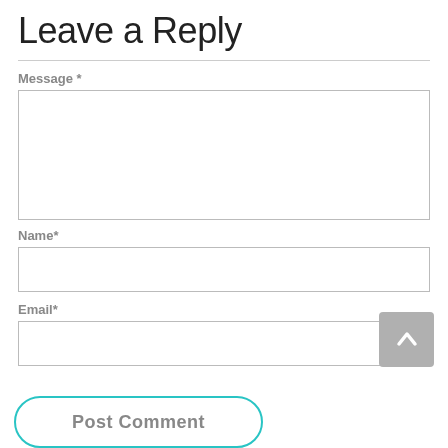Leave a Reply
Message *
Name*
Email*
Post Comment